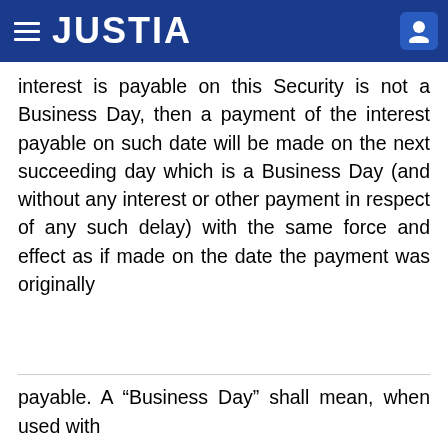JUSTIA
interest is payable on this Security is not a Business Day, then a payment of the interest payable on such date will be made on the next succeeding day which is a Business Day (and without any interest or other payment in respect of any such delay) with the same force and effect as if made on the date the payment was originally
payable. A “Business Day” shall mean, when used with